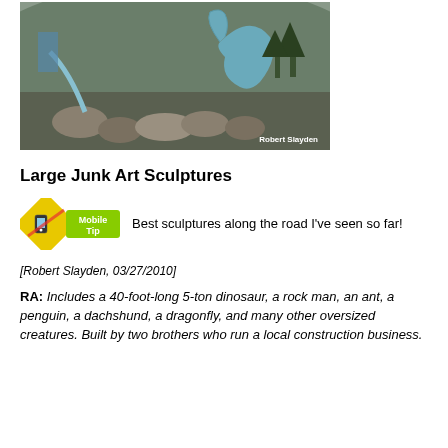[Figure (photo): Outdoor scene showing large junk art sculptures including a blue dinosaur-like creature arched over rocks, with mountains and trees in the background. Photo credit: Robert Slayden.]
Large Junk Art Sculptures
[Figure (infographic): Mobile Tip badge — yellow diamond road-sign icon with a smartphone/cursor graphic, green banner text reading 'Mobile Tip']
Best sculptures along the road I've seen so far!
[Robert Slayden, 03/27/2010]
RA: Includes a 40-foot-long 5-ton dinosaur, a rock man, an ant, a penguin, a dachshund, a dragonfly, and many other oversized creatures. Built by two brothers who run a local construction business.